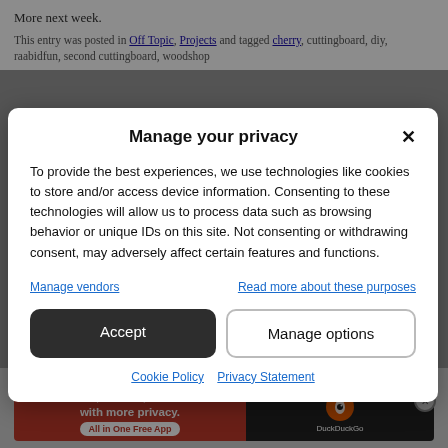More next week.
This entry was posted in Off Topic, Projects and tagged cherry, cuttingboard, diy, raabidfun, second cuttingboard, woodshop
Manage your privacy
To provide the best experiences, we use technologies like cookies to store and/or access device information. Consenting to these technologies will allow us to process data such as browsing behavior or unique IDs on this site. Not consenting or withdrawing consent, may adversely affect certain features and functions.
Manage vendors | Read more about these purposes
Accept
Manage options
Cookie Policy  Privacy Statement
Advertisements
[Figure (infographic): DuckDuckGo advertisement banner: orange/red background on left with text 'Search, browse, and email with more privacy. All in One Free App' and DuckDuckGo logo on dark right side]